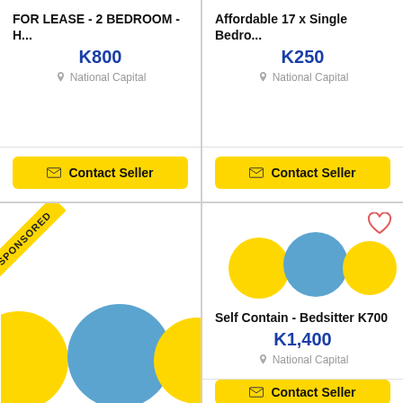FOR LEASE - 2 BEDROOM - H...
K800
National Capital
Contact Seller
Affordable 17 x Single Bedro...
K250
National Capital
Contact Seller
[Figure (illustration): Sponsored listing card with yellow ribbon banner saying SPONSORED, and placeholder image with yellow and blue circles]
Self Contain - Bedsitter K700
K1,400
National Capital
Contact Seller